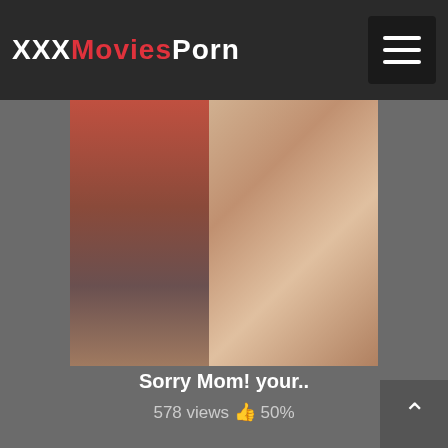XXXMoviesPorn
[Figure (photo): Video thumbnail showing two split scenes]
Sorry Mom! your..
578 views 👍 50%
[Figure (photo): Animated/3D video thumbnail]